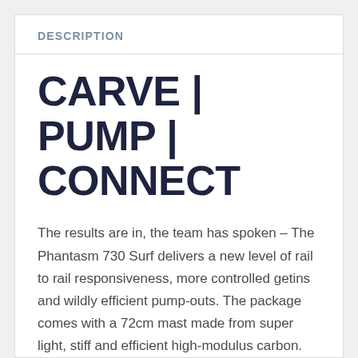DESCRIPTION
CARVE | PUMP | CONNECT
The results are in, the team has spoken – The Phantasm 730 Surf delivers a new level of rail to rail responsiveness, more controlled getins and wildly efficient pump-outs. The package comes with a 72cm mast made from super light, stiff and efficient high-modulus carbon. The 72cm mast keeps your wing in the power of the wave while the 710mm fuselage delivers unparalleled